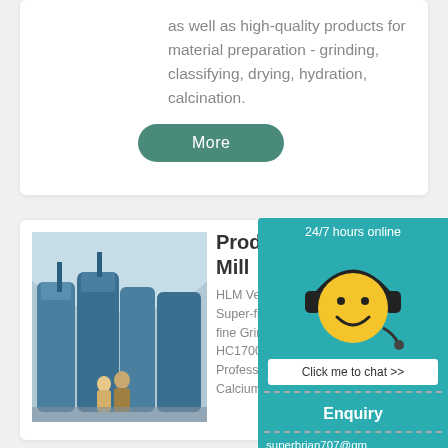as well as high-quality products for material preparation - grinding, classifying, drying, hydration, calcination.
More
[Figure (photo): Industrial grinding mill machinery in a large factory hall with workers]
Products HCM Mill
HLM Vertical Grinding Super-fine Vertical M fine Grinding Mill. R HC1700 Grinding Mi Professional Powder Calcium Hydroxide E
[Figure (illustration): Chat support widget with smiley face wearing headphones, 24/7 hours online banner, Click me to chat button, Enquiry section, and email superbrian707@g...]